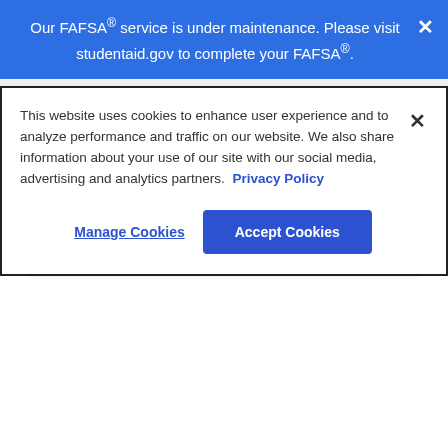Our FAFSA® service is under maintenance. Please visit studentaid.gov to complete your FAFSA®.
Your future by the numbers
$43,371
This website uses cookies to enhance user experience and to analyze performance and traffic on our website. We also share information about your use of our site with our social media, advertising and analytics partners. Privacy Policy